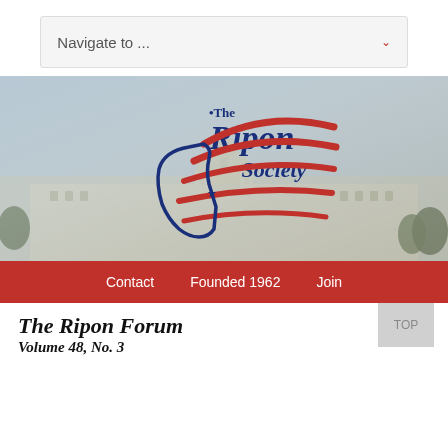Navigate to ...
[Figure (logo): The Ripon Society logo with American flag swoosh design over a faded U.S. Capitol building background]
Contact   Founded 1962   Join
The Ripon Forum
Volume 48, No. 3